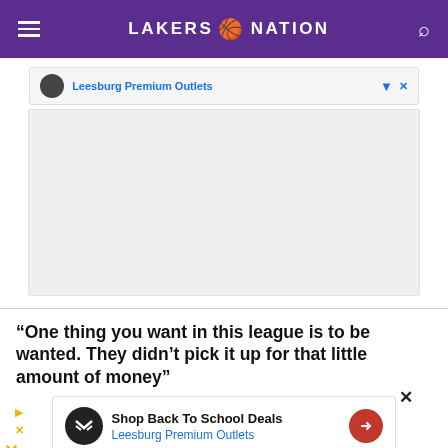LAKERS NATION
[Figure (screenshot): Advertisement banner for Leesburg Premium Outlets with circular icon and blue text link]
[Figure (screenshot): Advertisement block area (gray background, empty content area)]
“One thing you want in this league is to be wanted. They didn’t pick it up for that little amount of money”
[Figure (screenshot): Advertisement overlay for Shop Back To School Deals at Leesburg Premium Outlets with close X button]